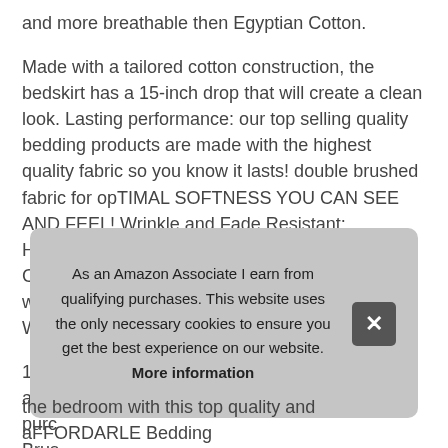and more breathable then Egyptian Cotton.
Made with a tailored cotton construction, the bedskirt has a 15-inch drop that will create a clean look. Lasting performance: our top selling quality bedding products are made with the highest quality fabric so you know it lasts! double brushed fabric for opTIMAL SOFTNESS YOU CAN SEE AND FEEL! Wrinkle and Fade Resistant; Hypoallergenic & Resistant to Dust Mites, Vibrant Colors made exclusively not to fade with washings! EASY TO CARE FOR: Machine Washable, Tumble dry low.
100% satisfaction guarantee: just try our products and if you don't...
[Figure (other): Cookie consent banner overlay with text: 'As an Amazon Associate I earn from qualifying purchases. This website uses the only necessary cookies to ensure you get the best experience on our website. More information' and an X close button.]
the bedroom with this top quality and aFFORDARLE Bedding